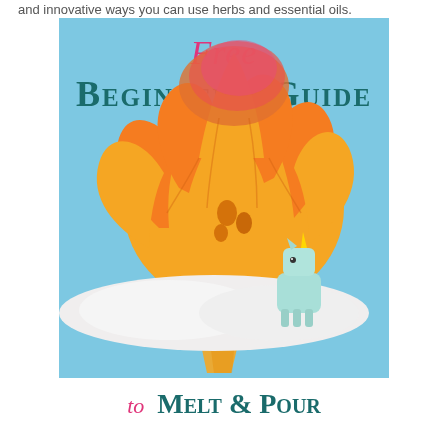and innovative ways you can use herbs and essential oils.
[Figure (illustration): Book cover with light blue background featuring a large orange and pink palm tree soap with translucent leaves, a small mint-colored unicorn figurine on white cloud-like surface. Text reads: Free Beginner's Guide to Melt & Pour]
Free Beginner's Guide to Melt & Pour